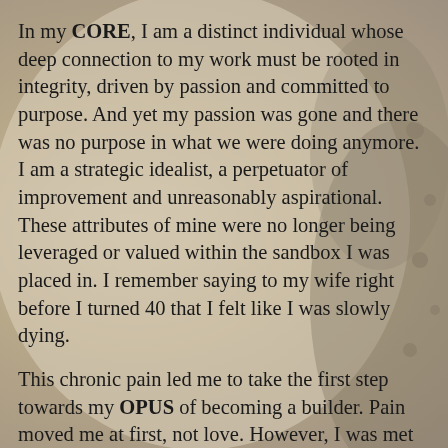In my CORE, I am a distinct individual whose deep connection to my work must be rooted in integrity, driven by passion and committed to purpose. And yet my passion was gone and there was no purpose in what we were doing anymore. I am a strategic idealist, a perpetuator of improvement and unreasonably aspirational. These attributes of mine were no longer being leveraged or valued within the sandbox I was placed in. I remember saying to my wife right before I turned 40 that I felt like I was slowly dying.
This chronic pain led me to take the first step towards my OPUS of becoming a builder. Pain moved me at first, not love. However, I was met with a simple phase that turned my pain and fear into action rooted in belief. Here it is, don't miss this, it could be huge...
"It appears the...